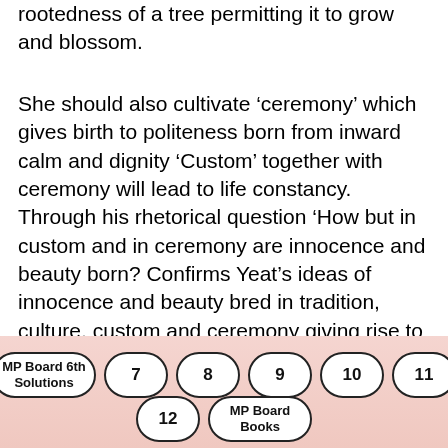rootedness of a tree permitting it to grow and blossom.
She should also cultivate ‘ceremony’ which gives birth to politeness born from inward calm and dignity ‘Custom’ together with ceremony will lead to life constancy. Through his rhetorical question ‘How but in custom and in ceremony are innocence and beauty born? Confirms Yeat’s ideas of innocence and beauty bred in tradition, culture, custom and ceremony giving rise to spiritual understanding.
Question 9.
MP Board 6th Solutions  7  8  9  10  11  12  MP Board Books